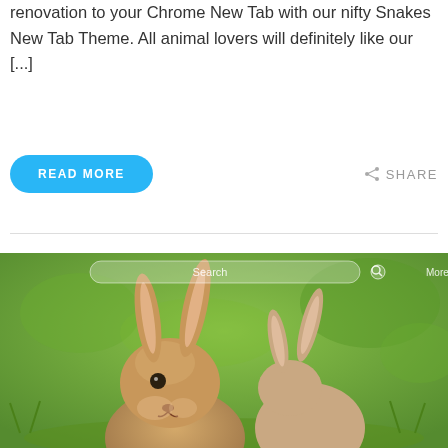renovation to your Chrome New Tab with our nifty Snakes New Tab Theme. All animal lovers will definitely like our [...]
READ MORE
SHARE
[Figure (photo): Screenshot of a Chrome New Tab page showing two rabbits/bunnies in a green grassy field. One rabbit is in the foreground facing forward, the other is behind it. A search bar is visible at the top of the browser new tab page with 'Search' placeholder text, a magnifying glass icon, and 'More' text.]